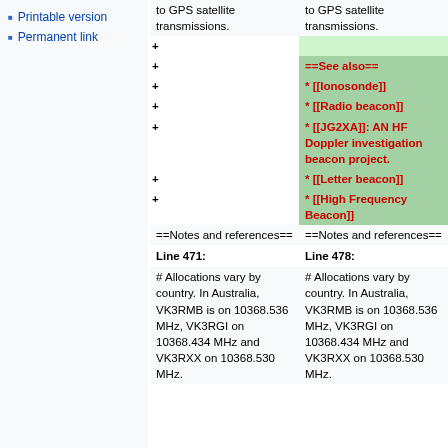Printable version
Permanent link
| Left | Right |
| --- | --- |
| to GPS satellite transmissions. | to GPS satellite transmissions. |
| + | (empty green) |
| + | ==See also== |
| + | * [[Ionosonde]] |
| + | * [[Radio beacon]] |
| + | * [[JG2XA]]: AN HF Doppler investigation beacon project. |
| + | * [[Letter beacon]] |
| + | * [[High Frequency Beacon]] |
| ==Notes and references== | ==Notes and references== |
| Line 471: | Line 478: |
| # Allocations vary by country. In Australia, VK3RMB is on 10368.536 MHz, VK3RGI on 10368.434 MHz and VK3RXX on 10368.530 MHz. | # Allocations vary by country. In Australia, VK3RMB is on 10368.536 MHz, VK3RGI on 10368.434 MHz and VK3RXX on 10368.530 MHz. |